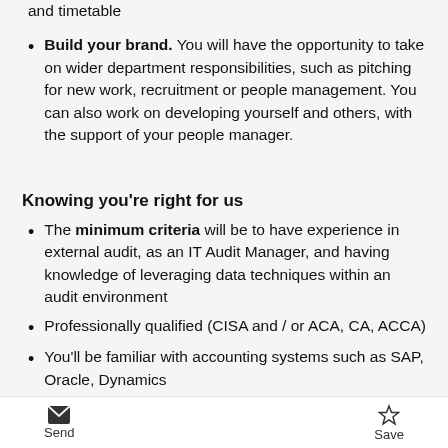Build your brand. You will have the opportunity to take on wider department responsibilities, such as pitching for new work, recruitment or people management. You can also work on developing yourself and others, with the support of your people manager.
Knowing you're right for us
The minimum criteria will be to have experience in external audit, as an IT Audit Manager, and having knowledge of leveraging data techniques within an audit environment
Professionally qualified (CISA and / or ACA, CA, ACCA)
You'll be familiar with accounting systems such as SAP, Oracle, Dynamics
Send   Save